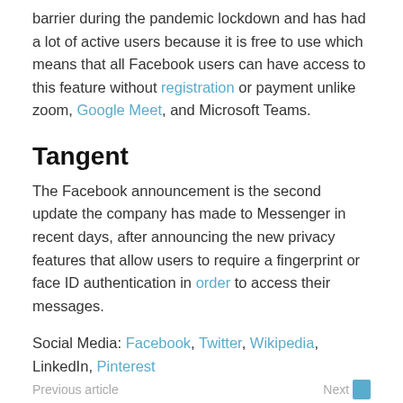barrier during the pandemic lockdown and has had a lot of active users because it is free to use which means that all Facebook users can have access to this feature without registration or payment unlike zoom, Google Meet, and Microsoft Teams.
Tangent
The Facebook announcement is the second update the company has made to Messenger in recent days, after announcing the new privacy features that allow users to require a fingerprint or face ID authentication in order to access their messages.
Social Media: Facebook, Twitter, Wikipedia, LinkedIn, Pinterest
Previous article   Next